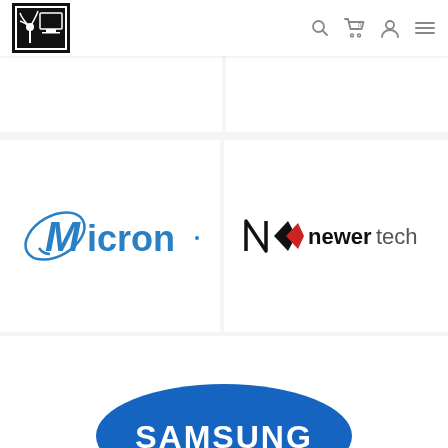[Figure (logo): Website header navigation bar with a black square logo containing a stylized palm tree and frame icon, and right-side icons: search, cart (0), user, and hamburger menu]
[Figure (logo): Micron logo in blue with orbital swoosh design and the word 'Micron' in blue text]
[Figure (logo): NewerTech logo with a black arrow/chevron icon and 'newertech' in dark text with a red accent chevron]
[Figure (logo): Samsung logo in white text on a blue oval/ellipse shape, partially visible at bottom of page]